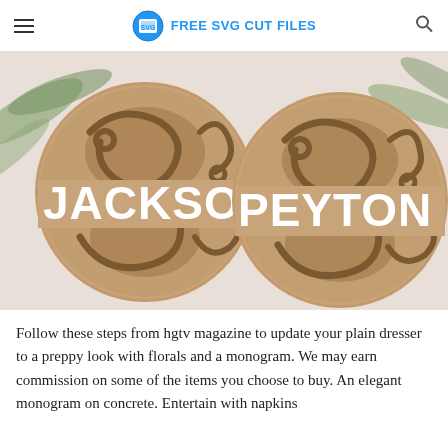FREE SVG CUT FILES
[Figure (photo): Two circular wooden laser-cut ornaments with decorative swirl patterns. Left ornament reads JACKSON and right ornament reads PEYTON in cut-out lettering, photographed against a light background with pine branches.]
Follow these steps from hgtv magazine to update your plain dresser to a preppy look with florals and a monogram. We may earn commission on some of the items you choose to buy. An elegant monogram on concrete. Entertain with napkins